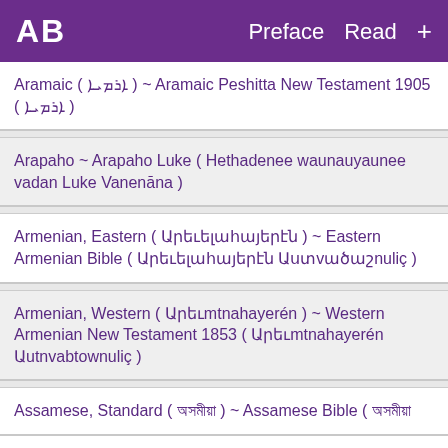AB   Preface  Read  +
Aramaic ( ܐܪܡܝܐ ) ~ Aramaic Peshitta New Testament 1905 ( ܐܪܡܝܐ )
Arapaho ~ Arapaho Luke ( Hethadenee waunauyaunee vadan Luke Vanenāna )
Armenian, Eastern ( Արեւելահայերէն ) ~ Eastern Armenian Bible ( Արեւելահայերէն Աստváծաշnuliç )
Armenian, Western ( Արեւmtnahayerén ) ~ Western Armenian New Testament 1853 ( Արեւmtnahayerén Աutnvabtownuliç )
Assamese, Standard ( অসমীয়া ) ~ Assamese Bible ( অসমীয়া